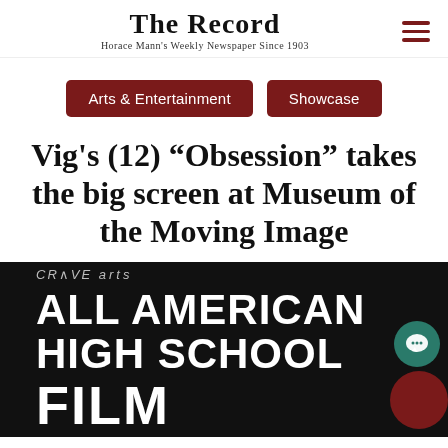The Record — Horace Mann's Weekly Newspaper Since 1903
Arts & Entertainment
Showcase
Vig's (12) “Obsession” takes the big screen at Museum of the Moving Image
[Figure (photo): Promotional image for CRAVEarts All American High School Film Festival on black background with large white bold text.]